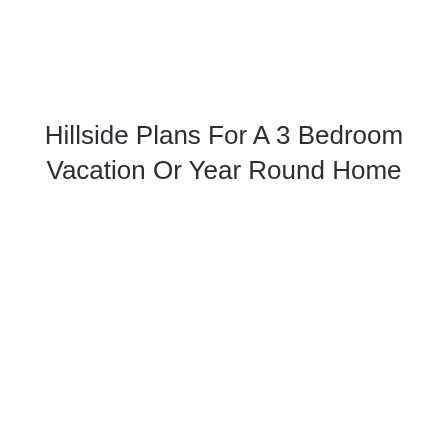Hillside Plans For A 3 Bedroom Vacation Or Year Round Home